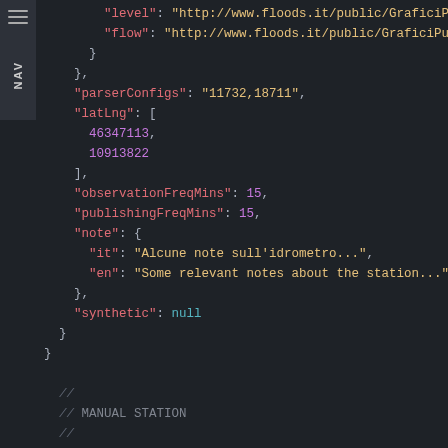JSON code block showing station configuration with fields: level URL, flow URL, parserConfigs, latLng array, observationFreqMins, publishingFreqMins, note object with it/en fields, synthetic null. Then comment block // MANUAL STATION and opening of new object with id, type, revision fields.